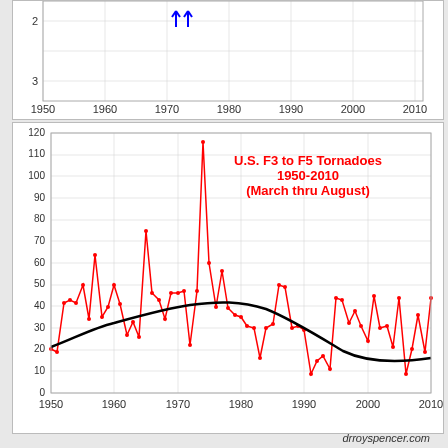[Figure (continuous-plot): Top partial chart showing years 1950-2010 on x-axis with scale 2-3 on y-axis (inverted), blue data points near 1975 and 1985]
[Figure (line-chart): Red line chart of annual F3-F5 tornado counts with black smoothing curve. Values range from roughly 9 to 116. Peak around 1974 (~116). Black trend curve rises to peak ~1965-1970, declines through 2000s then slightly rises.]
drroyspencer.com